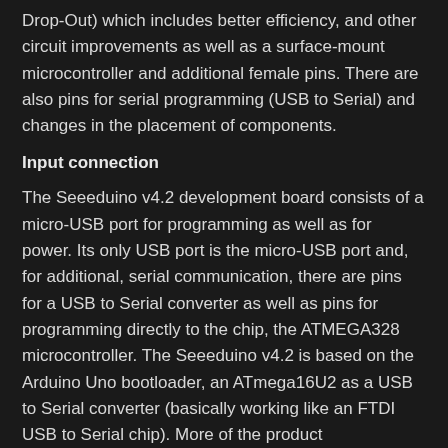Drop-Out) which includes better efficiency, and other circuit improvements as well as a surface-mount microcontroller and additional female pins. There are also pins for serial programming (USB to Serial) and changes in the placement of components.
Input connection
The Seeeduino v4.2 development board consists of a micro-USB port for programming as well as for power. Its only USB port is the micro-USB port and, for additional, serial communication, there are pins for a USB to Serial converter as well as pins for programming directly to the chip, the ATMEGA328 microcontroller. The Seeeduino v4.2 is based on the Arduino Uno bootloader, an ATmega16U2 as a USB to Serial converter (basically working like an FTDI USB to Serial chip). More of the product specifications will be at the product review page for the Seeeduino v4.2. For programming and uploading codes to the board, you will need a micro-USB data cable as seen in the image below: